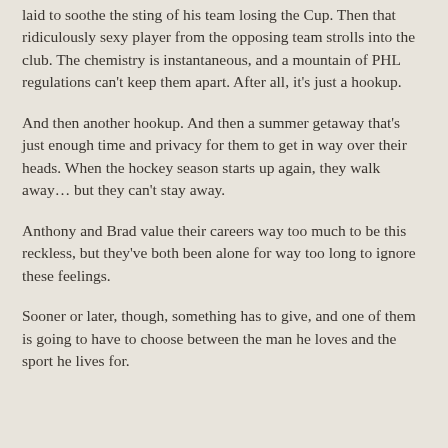laid to soothe the sting of his team losing the Cup. Then that ridiculously sexy player from the opposing team strolls into the club. The chemistry is instantaneous, and a mountain of PHL regulations can't keep them apart. After all, it's just a hookup.
And then another hookup. And then a summer getaway that's just enough time and privacy for them to get in way over their heads. When the hockey season starts up again, they walk away… but they can't stay away.
Anthony and Brad value their careers way too much to be this reckless, but they've both been alone for way too long to ignore these feelings.
Sooner or later, though, something has to give, and one of them is going to have to choose between the man he loves and the sport he lives for.